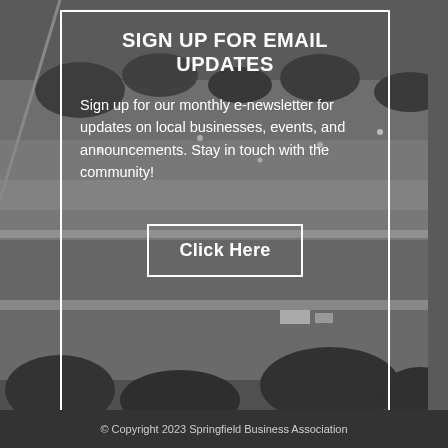[Figure (photo): Aerial black-and-white photograph of a rural landscape with fields, trees, roads, and scattered buildings/farms]
SIGN UP FOR EMAIL UPDATES
Sign up for our monthly e-newsletter for updates on local businesses, events, and announcements. Stay in touch with the community!
Click Here
© Copyright 2023 Springfield Business Association